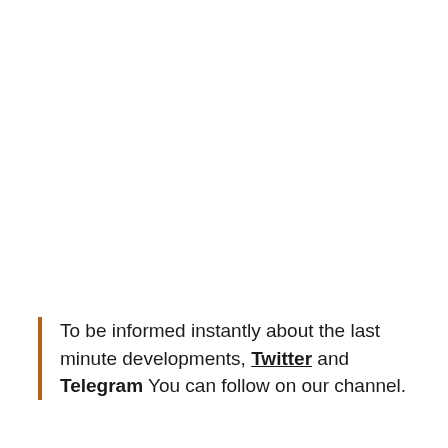To be informed instantly about the last minute developments, Twitter and Telegram You can follow on our channel.